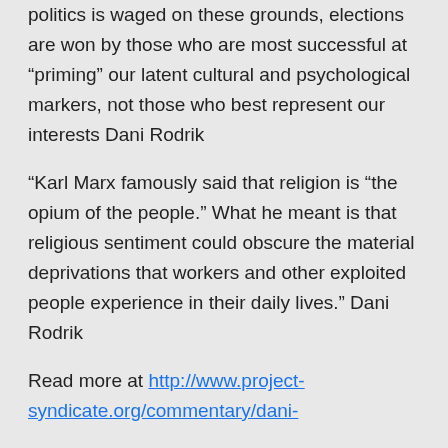politics is waged on these grounds, elections are won by those who are most successful at “priming” our latent cultural and psychological markers, not those who best represent our interests Dani Rodrik
"Karl Marx famously said that religion is “the opium of the people.” What he meant is that religious sentiment could obscure the material deprivations that workers and other exploited people experience in their daily lives.” Dani Rodrik
Read more at http://www.project-syndicate.org/commentary/dani-